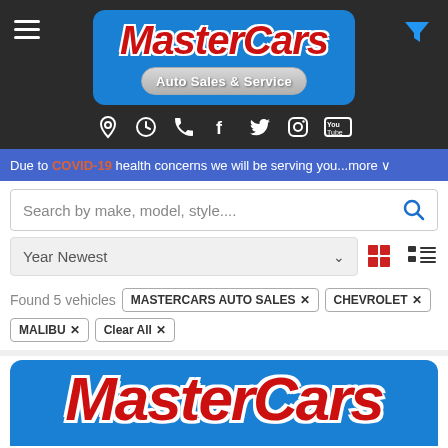[Figure (logo): MasterCars Auto Sales & Service logo on blue rounded rectangle background with red italic bold text and gray pill-shaped subtitle]
[Figure (infographic): Row of social media icons: location pin, clock, phone, Facebook, Twitter, Instagram, YouTube on dark background]
Due to COVID-19 health concerns we will be serving you...more
Search by make, model, style....
Year Newest
Found 5 vehicles
MASTERCARS AUTO SALES ×
CHEVROLET ×
MALIBU ×
Clear All ×
[Figure (logo): MasterCars logo large text on blue rounded rectangle background at bottom of page]